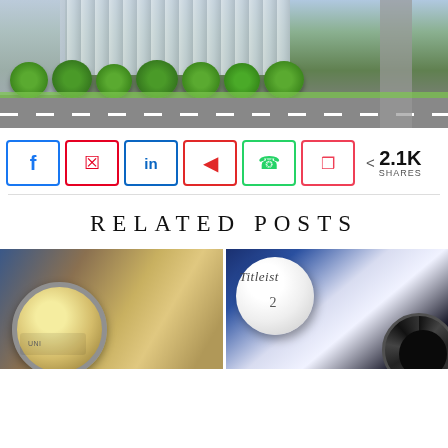[Figure (photo): Aerial view of an urban street with trees, buildings, pedestrians, and road markings]
Social share buttons: Facebook, Pinterest, LinkedIn, Flipboard, WhatsApp, Pocket — 2.1K SHARES
RELATED POSTS
[Figure (photo): Close-up photo of a luxury watch face]
[Figure (photo): Close-up photo of a Titleist golf ball numbered 2 with a watch bezel]